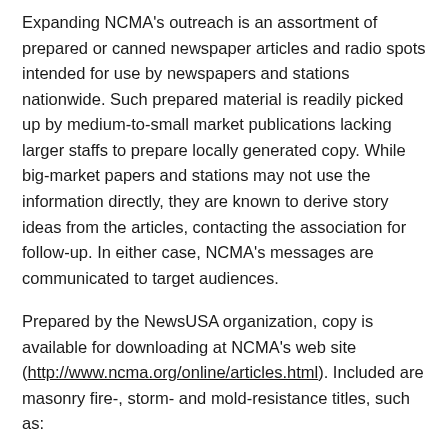Expanding NCMA's outreach is an assortment of prepared or canned newspaper articles and radio spots intended for use by newspapers and stations nationwide. Such prepared material is readily picked up by medium-to-small market publications lacking larger staffs to prepare locally generated copy. While big-market papers and stations may not use the information directly, they are known to derive story ideas from the articles, contacting the association for follow-up. In either case, NCMA's messages are communicated to target audiences.
Prepared by the NewsUSA organization, copy is available for downloading at NCMA's web site (http://www.ncma.org/online/articles.html). Included are masonry fire-, storm- and mold-resistance titles, such as:
Americans More Concerned Now About Structure Fires
Concrete Retaining Walls Help Cut Cost
Don't Feed the Mold